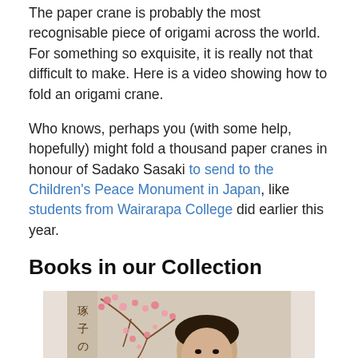The paper crane is probably the most recognisable piece of origami across the world. For something so exquisite, it is really not that difficult to make. Here is a video showing how to fold an origami crane.
Who knows, perhaps you (with some help, hopefully) might fold a thousand paper cranes in honour of Sadako Sasaki to send to the Children's Peace Monument in Japan, like students from Wairarapa College did earlier this year.
Books in our Collection
[Figure (photo): A sepia-toned book cover showing a young girl smiling, wearing a floral dress with a bow, alongside Japanese cherry blossom branch illustration and Japanese text on the left side.]